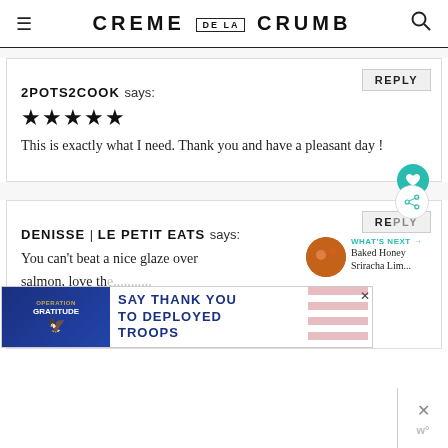CREME DE LA CRUMB
2POTS2COOK says: ★★★★★ This is exactly what I need. Thank you and have a pleasant day !
DENISSE | LE PETIT EATS says: You can't beat a nice glaze over salmon, love th... up too! I think I'm going to keep this one in my back
[Figure (screenshot): Operation Gratitude ad banner: SAY THANK YOU TO DEPLOYED TROOPS]
WHAT'S NEXT → Baked Honey Sriracha Lim...